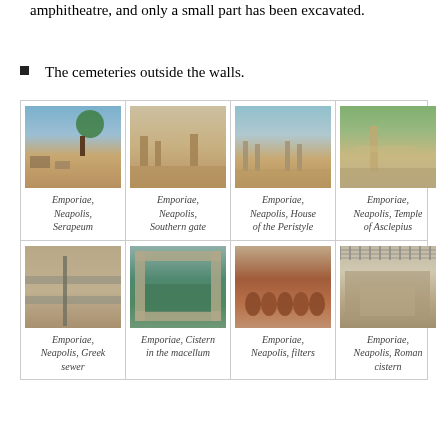amphitheatre, and only a small part has been excavated.
The cemeteries outside the walls.
[Figure (photo): Grid of 8 archaeological site photos from Emporiae, Neapolis with captions]
Emporiae, Neapolis, Serapeum
Emporiae, Neapolis, Southern gate
Emporiae, Neapolis, House of the Peristyle
Emporiae, Neapolis, Temple of Asclepius
Emporiae, Neapolis, Greek sewer
Emporiae, Cistern in the macellum
Emporiae, Neapolis, filters
Emporiae, Neapolis, Roman cistern